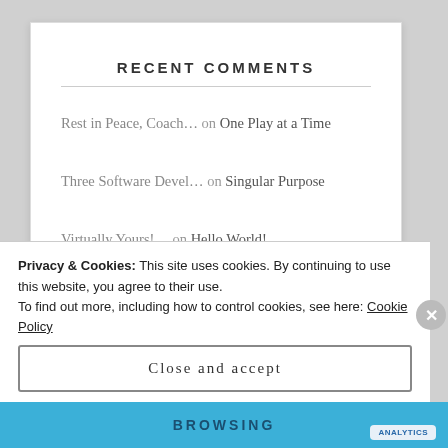RECENT COMMENTS
Rest in Peace, Coach… on One Play at a Time
Three Software Devel… on Singular Purpose
Virtually Yours!… on Hello World!
Georgia on The Right Stuff
Privacy & Cookies: This site uses cookies. By continuing to use this website, you agree to their use.
To find out more, including how to control cookies, see here: Cookie Policy
Close and accept